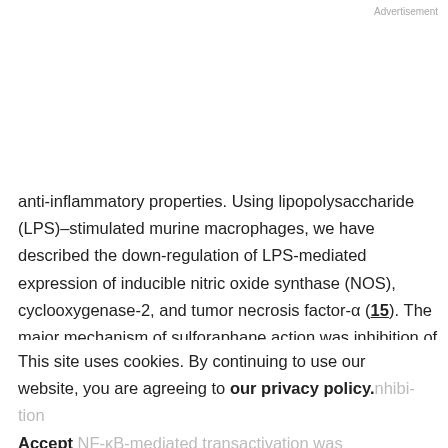Advertisement
anti-inflammatory properties. Using lipopolysaccharide (LPS)–stimulated murine macrophages, we have described the down-regulation of LPS-mediated expression of inducible nitric oxide synthase (NOS), cyclooxygenase-2, and tumor necrosis factor-α (15). The major mechanism of sulforaphane action was inhibition of nuclear factor-κB (NF-κB) binding to DNA presumably through modulation of intracellular redox conditions via
This site uses cookies. By continuing to use our website, you are agreeing to our privacy policy. Accept
involved in inhibition NF-κB-mediated transactivation was